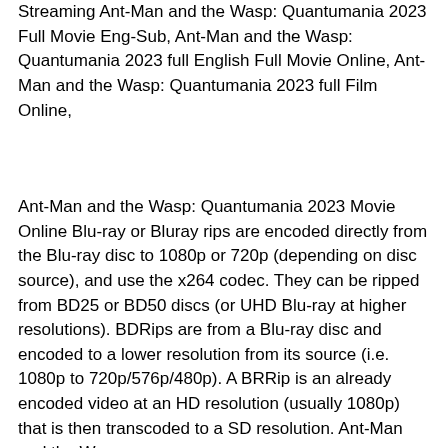Streaming Ant-Man and the Wasp: Quantumania 2023 Full Movie Eng-Sub, Ant-Man and the Wasp: Quantumania 2023 full English Full Movie Online, Ant-Man and the Wasp: Quantumania 2023 full Film Online,
Ant-Man and the Wasp: Quantumania 2023 Movie Online Blu-ray or Bluray rips are encoded directly from the Blu-ray disc to 1080p or 720p (depending on disc source), and use the x264 codec. They can be ripped from BD25 or BD50 discs (or UHD Blu-ray at higher resolutions). BDRips are from a Blu-ray disc and encoded to a lower resolution from its source (i.e. 1080p to 720p/576p/480p). A BRRip is an already encoded video at an HD resolution (usually 1080p) that is then transcoded to a SD resolution. Ant-Man and the Wasp: